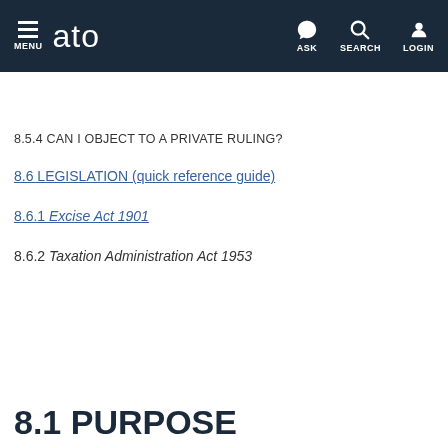MENU  ato  ASK  SEARCH  LOGIN
< Legal database
8.5.4 CAN I OBJECT TO A PRIVATE RULING?
8.6 LEGISLATION (quick reference guide)
8.6.1 Excise Act 1901
8.6.2 Taxation Administration Act 1953
8.1 PURPOSE